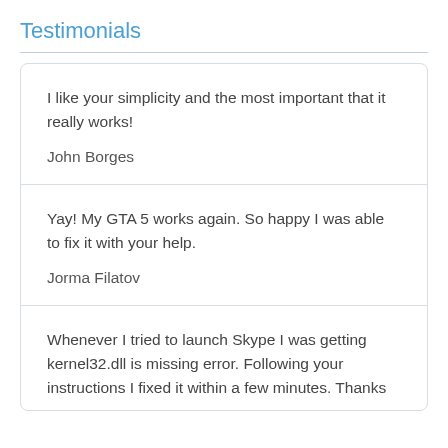Testimonials
I like your simplicity and the most important that it really works!

John Borges
Yay! My GTA 5 works again. So happy I was able to fix it with your help.

Jorma Filatov
Whenever I tried to launch Skype I was getting kernel32.dll is missing error. Following your instructions I fixed it within a few minutes. Thanks